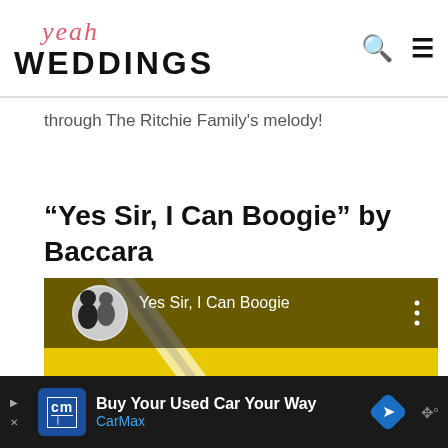yeah WEDDINGS
through The Ritchie Family's melody!
“Yes Sir, I Can Boogie” by Baccara
[Figure (screenshot): YouTube Music screenshot showing 'Yes Sir, I Can Boogie' by Baccara with The Full Monty movie poster as album art — yellow background with large red and blue text 'ore MONTY']
Buy Your Own Used Car Your Way - CarMax advertisement